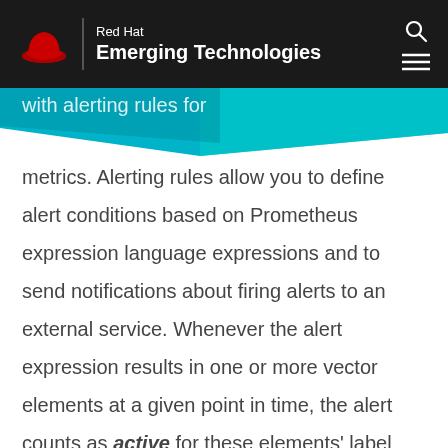Red Hat Emerging Technologies
with alerting rules for metrics. Alerting rules allow you to define alert conditions based on Prometheus expression language expressions and to send notifications about firing alerts to an external service. Whenever the alert expression results in one or more vector elements at a given point in time, the alert counts as active for these elements' label sets.